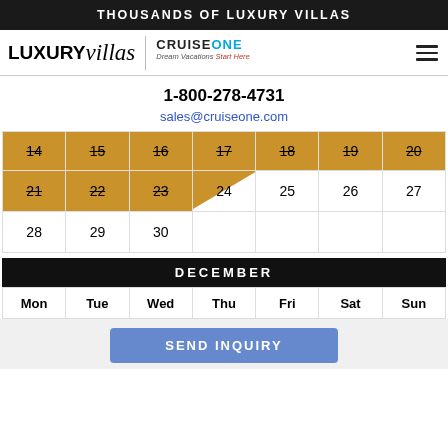THOUSANDS OF LUXURY VILLAS
[Figure (logo): LUXURY villas | CRUISE ONE Dream Vacations logo with hamburger menu icon]
1-800-278-4731
sales@cruiseone.com
| 14 | 15 | 16 | 17 | 18 | 19 | 20 |
| 21 | 22 | 23 | 24 | 25 | 26 | 27 |
| 28 | 29 | 30 |  |  |  |  |
DECEMBER
| Mon | Tue | Wed | Thu | Fri | Sat | Sun |
| --- | --- | --- | --- | --- | --- | --- |
SEND INQUIRY